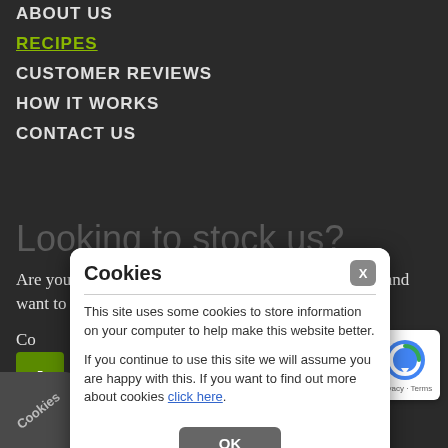ABOUT US
RECIPES
CUSTOMER REVIEWS
HOW IT WORKS
CONTACT US
Looking to stock us?
Are you a Farm shop, Butchers, Greengrocers or Deli and want to stock our products?
[Figure (screenshot): Cookies dialog box with title 'Cookies', close X button, divider line, text about cookie usage, link 'click here', and OK button]
© J... Ltd 2022
Privacy | Accessibility | ... Terms & Conditions | Site M...
Site by Hive Manchester